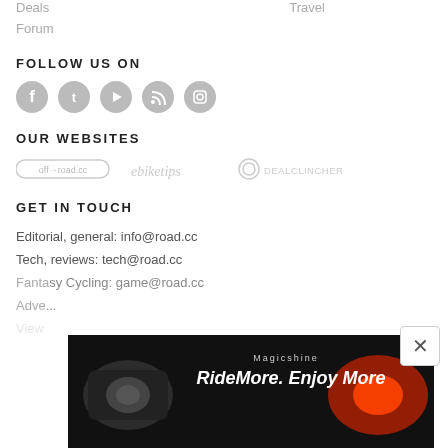Deals
Travel
Forum
FOLLOW US ON
[Figure (illustration): Row of 5 social media icons: Facebook, Twitter, YouTube, RSS, Instagram — all grey circles]
OUR WEBSITES
[Figure (logo): Logos for off-road.cc, ebiketips, and DealClincher shown in grey]
GET IN TOUCH
Editorial, general: info@road.cc
Tech, reviews: tech@road.cc
Fantasy Cycling: game@road.cc
Adve...
View...
[Figure (screenshot): Advertisement overlay: Magicshine RideMore. Enjoy More ad with bicycle lights imagery, with an X close button in the top-right corner]